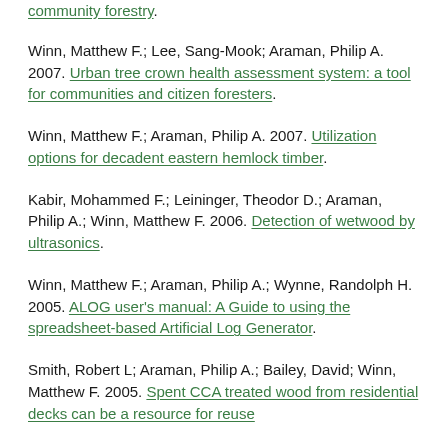community forestry.
Winn, Matthew F.; Lee, Sang-Mook; Araman, Philip A. 2007. Urban tree crown health assessment system: a tool for communities and citizen foresters.
Winn, Matthew F.; Araman, Philip A. 2007. Utilization options for decadent eastern hemlock timber.
Kabir, Mohammed F.; Leininger, Theodor D.; Araman, Philip A.; Winn, Matthew F. 2006. Detection of wetwood by ultrasonics.
Winn, Matthew F.; Araman, Philip A.; Wynne, Randolph H. 2005. ALOG user's manual: A Guide to using the spreadsheet-based Artificial Log Generator.
Smith, Robert L; Araman, Philip A.; Bailey, David; Winn, Matthew F. 2005. Spent CCA treated wood from residential decks can be a resource for reuse